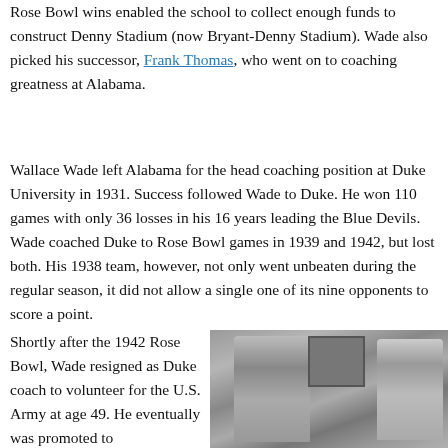Rose Bowl wins enabled the school to collect enough funds to construct Denny Stadium (now Bryant-Denny Stadium). Wade also picked his successor, Frank Thomas, who went on to coaching greatness at Alabama.
Wallace Wade left Alabama for the head coaching position at Duke University in 1931. Success followed Wade to Duke. He won 110 games with only 36 losses in his 16 years leading the Blue Devils. Wade coached Duke to Rose Bowl games in 1939 and 1942, but lost both. His 1938 team, however, not only went unbeaten during the regular season, it did not allow a single one of its nine opponents to score a point.
Shortly after the 1942 Rose Bowl, Wade resigned as Duke coach to volunteer for the U.S. Army at age 49. He eventually was promoted to
[Figure (photo): Black and white photograph of two men in suits, one older and one younger, appearing to exchange or examine an object, with a framed picture visible on the wall behind them.]